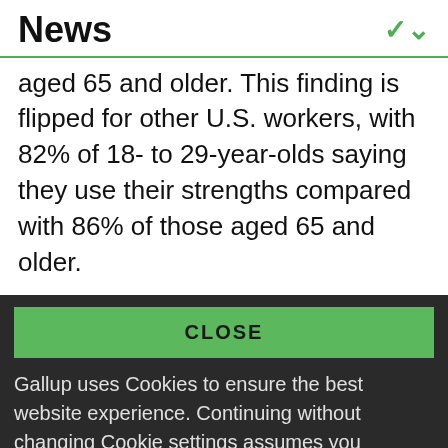News
aged 65 and older. This finding is flipped for other U.S. workers, with 82% of 18- to 29-year-olds saying they use their strengths compared with 86% of those aged 65 and older.
CLOSE
Gallup uses Cookies to ensure the best website experience. Continuing without changing Cookie settings assumes you consent to our use of cookies on this device. You can change this setting at any time, but that may impair functionality on our websites.
Privacy Statement   Site Terms of Use and Sale
Product Terms of Use   Adjust your cookie settings.